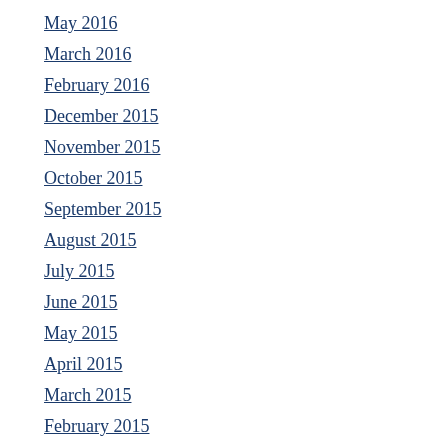May 2016
March 2016
February 2016
December 2015
November 2015
October 2015
September 2015
August 2015
July 2015
June 2015
May 2015
April 2015
March 2015
February 2015